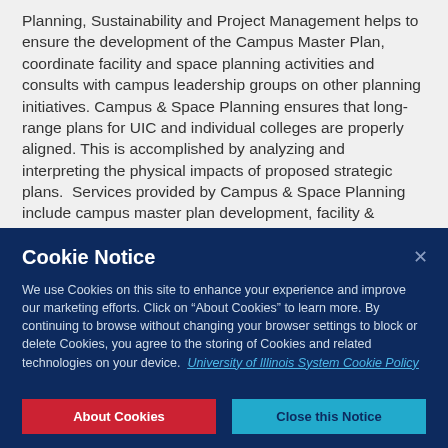Planning, Sustainability and Project Management helps to ensure the development of the Campus Master Plan, coordinate facility and space planning activities and consults with campus leadership groups on other planning initiatives. Campus & Space Planning ensures that long-range plans for UIC and individual colleges are properly aligned. This is accomplished by analyzing and interpreting the physical impacts of proposed strategic plans.  Services provided by Campus & Space Planning include campus master plan development, facility & property analyses, space utilization analyses, metrics development, space programming for the renovation of existing space and new space, coordination of
Cookie Notice
We use Cookies on this site to enhance your experience and improve our marketing efforts. Click on "About Cookies" to learn more. By continuing to browse without changing your browser settings to block or delete Cookies, you agree to the storing of Cookies and related technologies on your device.  University of Illinois System Cookie Policy
About Cookies
Close this Notice